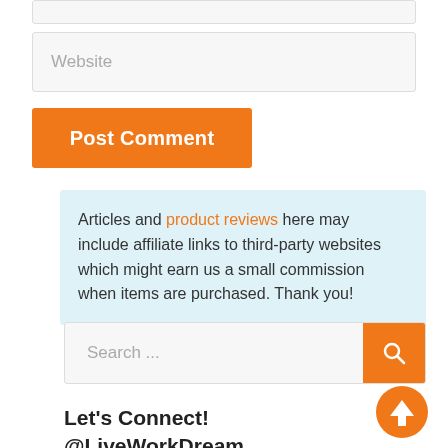Website
Post Comment
Articles and product reviews here may include affiliate links to third-party websites which might earn us a small commission when items are purchased. Thank you!
Search ...
Let's Connect!
@LiveWorkDream